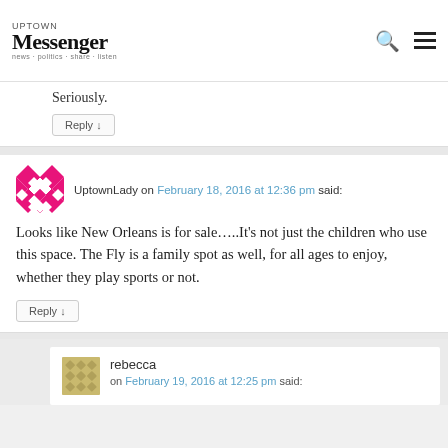Uptown Messenger
Seriously.
Reply ↓
UptownLady on February 18, 2016 at 12:36 pm said:
Looks like New Orleans is for sale…..It's not just the children who use this space. The Fly is a family spot as well, for all ages to enjoy, whether they play sports or not.
Reply ↓
rebecca on February 19, 2016 at 12:25 pm said: